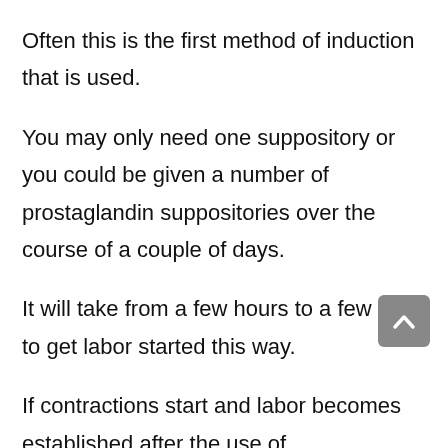Often this is the first method of induction that is used.
You may only need one suppository or you could be given a number of prostaglandin suppositories over the course of a couple of days.
It will take from a few hours to a few days to get labor started this way.
If contractions start and labor becomes established after the use of prostaglandins then